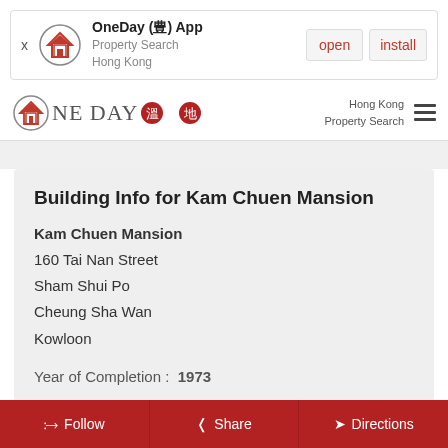[Figure (screenshot): App install banner for OneDay App - Property Search Hong Kong with open and install buttons]
[Figure (logo): OneDay property search Hong Kong navigation bar logo with Chinese characters and hamburger menu]
Building Info for Kam Chuen Mansion
Kam Chuen Mansion
160 Tai Nan Street
Sham Shui Po
Cheung Sha Wan
Kowloon
Year of Completion :  1973
Follow  Share  Directions